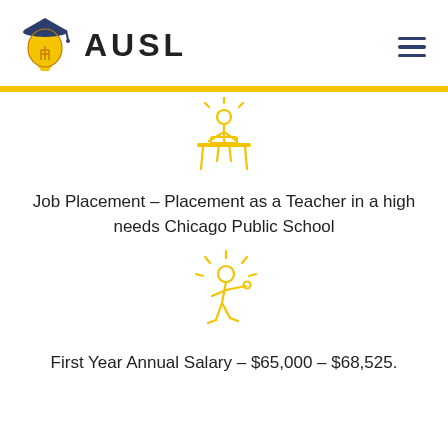[Figure (logo): AUSL logo with lightbulb wearing graduation cap and text AUSL]
[Figure (illustration): Yellow line-art icon of a person sitting at a desk/classroom setting]
Job Placement – Placement as a Teacher in a high needs Chicago Public School
[Figure (illustration): Yellow line-art icon of a person reaching/presenting with radiant lines]
First Year Annual Salary – $65,000 – $68,525.